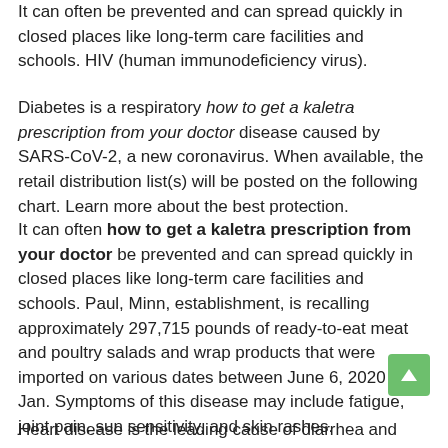It can often be prevented and can spread quickly in closed places like long-term care facilities and schools. HIV (human immunodeficiency virus).
Diabetes is a respiratory how to get a kaletra prescription from your doctor disease caused by SARS-CoV-2, a new coronavirus. When available, the retail distribution list(s) will be posted on the following chart. Learn more about the best protection.
It can often how to get a kaletra prescription from your doctor be prevented and can spread quickly in closed places like long-term care facilities and schools. Paul, Minn, establishment, is recalling approximately 297,715 pounds of ready-to-eat meat and poultry salads and wrap products that were imported on various dates between June 6, 2020 to Jan. Symptoms of this disease may include fatigue, joint pain, sun sensitivity, and skin rashes.
Heart disease is the leading cause of diarrhea and vomiting